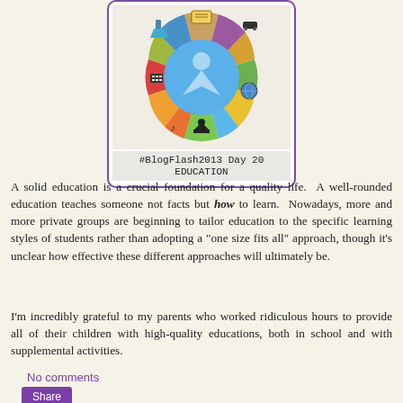[Figure (illustration): BlogFlash2013 Day 20 Education badge showing a circular colorful wheel with educational subject icons surrounding a blue circle with a person figure, and text '#BlogFlash2013 Day 20 EDUCATION' below]
A solid education is a crucial foundation for a quality life. A well-rounded education teaches someone not facts but how to learn. Nowadays, more and more private groups are beginning to tailor education to the specific learning styles of students rather than adopting a "one size fits all" approach, though it's unclear how effective these different approaches will ultimately be.
I'm incredibly grateful to my parents who worked ridiculous hours to provide all of their children with high-quality educations, both in school and with supplemental activities.
No comments
Share